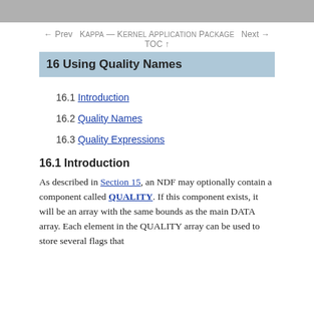← Prev   KAPPA — KERNEL APPLICATION PACKAGE   Next →
TOC ↑
16 Using Quality Names
16.1 Introduction
16.2 Quality Names
16.3 Quality Expressions
16.1 Introduction
As described in Section 15, an NDF may optionally contain a component called QUALITY. If this component exists, it will be an array with the same bounds as the main DATA array. Each element in the QUALITY array can be used to store several flags that